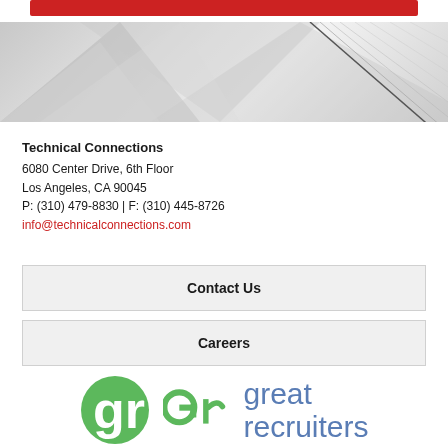[Figure (illustration): Red horizontal bar at top of page]
[Figure (illustration): Geometric abstract banner with grey angular shapes and diagonal lines]
Technical Connections
6080 Center Drive, 6th Floor
Los Angeles, CA 90045
P: (310) 479-8830 | F: (310) 445-8726
info@technicalconnections.com
Contact Us
Careers
[Figure (logo): Great Recruiters logo with green 'gr' icon and blue text reading 'great recruiters']